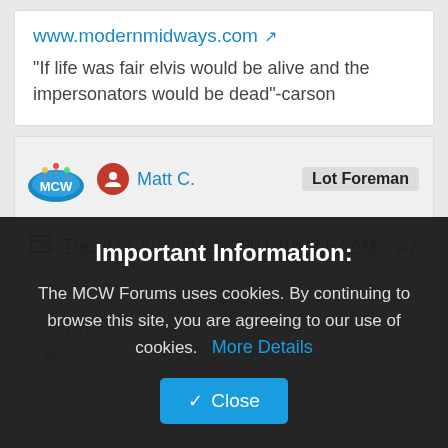www.modernmidways.com
"If life was fair elvis would be alive and the impersonators would be dead"-carson
Matt C.
Lot Foreman
Tuesday, August 24, 2004 10:22:52 AM
#7
— Quote:
quote:
Important Information:
The MCW Forums uses cookies. By continuing to browse this site, you are agreeing to our use of cookies.
More Details
Close